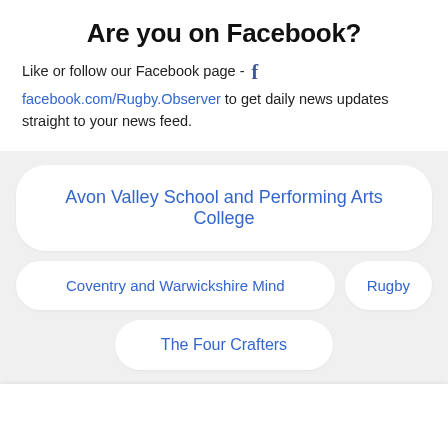Are you on Facebook?
Like or follow our Facebook page - facebook.com/Rugby.Observer to get daily news updates straight to your news feed.
Avon Valley School and Performing Arts College
Coventry and Warwickshire Mind
Rugby
The Four Crafters